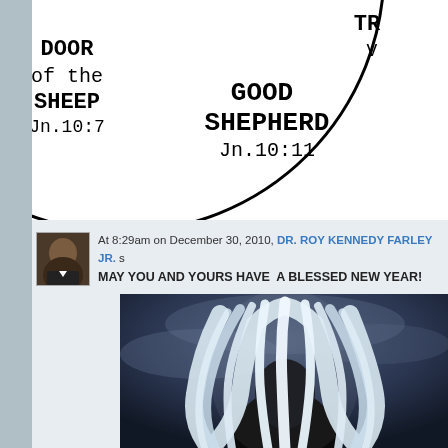[Figure (illustration): Partial view of a circular diagram (wheel) showing segments labeled: 'DOOR of the SHEEP Jn.10:7', 'GOOD SHEPHERD Jn.10:11', and a partially visible segment labeled 'TR...' on the right. The wheel has bold black borders and serif-style text.]
At 8:29am on December 30, 2010, DR. ROY KENNEDY FARLEY JR. s
MAY YOU AND YOURS HAVE  A BLESSED NEW YEAR!
[Figure (illustration): Illustration of a white-haired figure (seen from behind) against a dark blue/grey stormy sky background. The figure has long flowing white hair.]